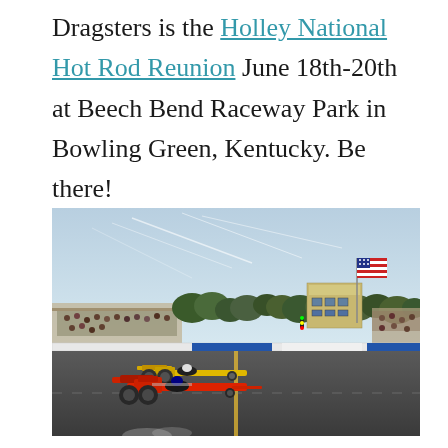Dragsters is the Holley National Hot Rod Reunion June 18th-20th at Beech Bend Raceway Park in Bowling Green, Kentucky. Be there!
[Figure (photo): Two dragster race cars side by side on a drag strip at a raceway. The foreground shows a red dragster and a yellow/gold dragster racing. In the background there is a timing tower, grandstands with spectators, trees, and an American flag on a tall pole.]